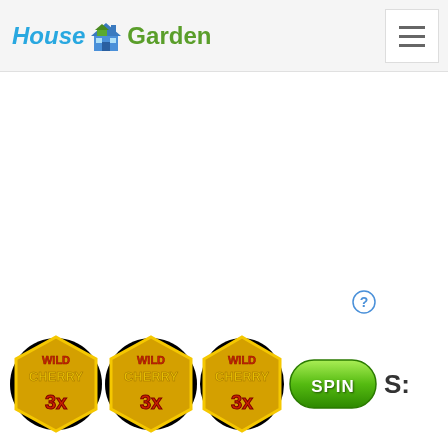House Garden — navigation header with hamburger menu
[Figure (screenshot): Wild Cherry 3x slot machine symbols (three badge icons) with a green SPIN button and 'S:' text, plus a question mark circle icon above]
S: